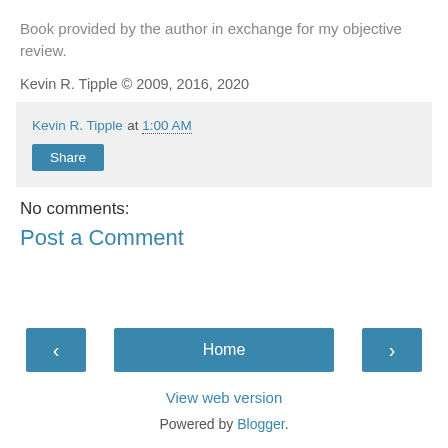Book provided by the author in exchange for my objective review.
Kevin R. Tipple © 2009, 2016, 2020
Kevin R. Tipple at 1:00 AM
Share
No comments:
Post a Comment
‹
Home
›
View web version
Powered by Blogger.